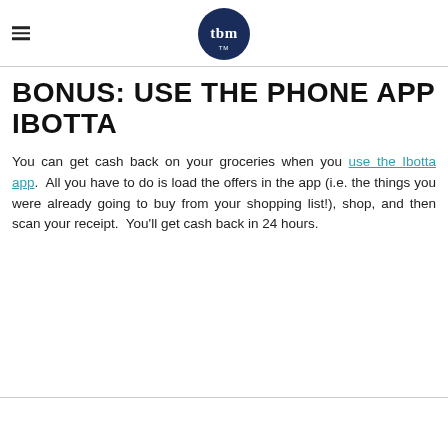tbm
BONUS: USE THE PHONE APP IBOTTA
You can get cash back on your groceries when you use the Ibotta app.  All you have to do is load the offers in the app (i.e. the things you were already going to buy from your shopping list!), shop, and then scan your receipt.  You'll get cash back in 24 hours.